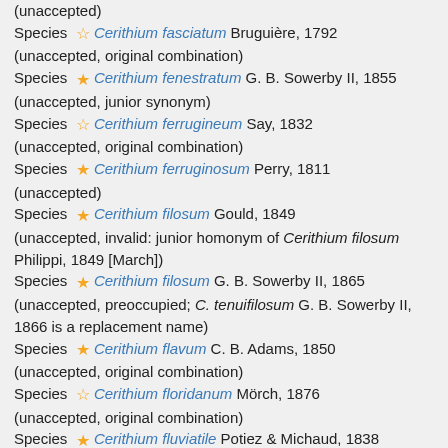(unaccepted)
Species ☆ Cerithium fasciatum Bruguière, 1792 (unaccepted, original combination)
Species ★ Cerithium fenestratum G. B. Sowerby II, 1855 (unaccepted, junior synonym)
Species ☆ Cerithium ferrugineum Say, 1832 (unaccepted, original combination)
Species ★ Cerithium ferruginosum Perry, 1811 (unaccepted)
Species ★ Cerithium filosum Gould, 1849 (unaccepted, invalid: junior homonym of Cerithium filosum Philippi, 1849 [March])
Species ★ Cerithium filosum G. B. Sowerby II, 1865 (unaccepted, preoccupied; C. tenuifilosum G. B. Sowerby II, 1866 is a replacement name)
Species ★ Cerithium flavum C. B. Adams, 1850 (unaccepted, original combination)
Species ☆ Cerithium floridanum Mörch, 1876 (unaccepted, original combination)
Species ★ Cerithium fluviatile Potiez & Michaud, 1838 (unaccepted)
Species ★ Cerithium fortiusculum Bayle, 1880 (unaccepted)